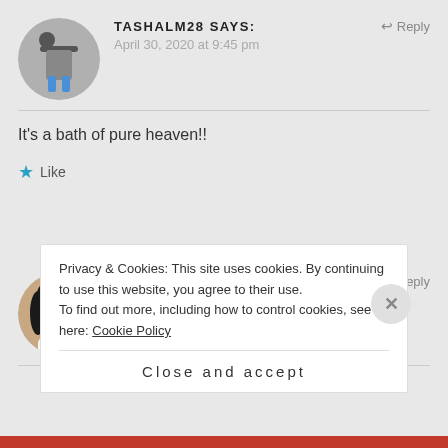[Figure (screenshot): User comment section from a blog/website showing two comments with avatars, author names, dates, and reply links, overlaid with a cookie consent banner and a close/accept button.]
TASHALM28 says:
April 30, 2020 at 9:45 pm
It's a bath of pure heaven!!
Like
KIDNEYFORNIKKI says:
April 30, 2020 at 9:44 pm
Privacy & Cookies: This site uses cookies. By continuing to use this website, you agree to their use.
To find out more, including how to control cookies, see here: Cookie Policy
Close and accept